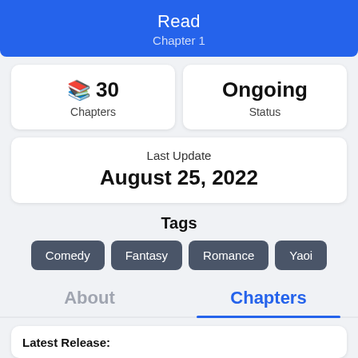Read
Chapter 1
30 Chapters
Ongoing
Status
Last Update
August 25, 2022
Tags
Comedy
Fantasy
Romance
Yaoi
About
Chapters
Latest Release: